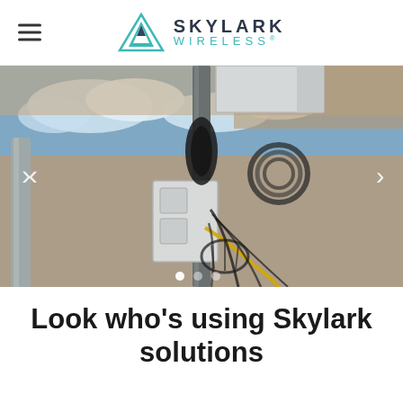SKYLARK WIRELESS®
[Figure (photo): Photograph of wireless telecommunications equipment mounted on a concrete wall pole, showing junction boxes, fiber optic cables, coiled black cables, and a yellow cable. Blue sky with clouds visible in upper portion of image. Slideshow navigation arrows on left and right sides, white dot indicator at bottom center.]
Look who's using Skylark solutions